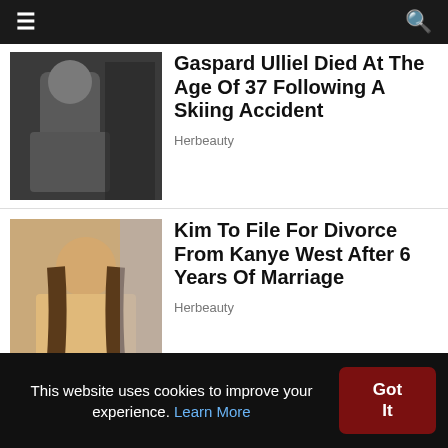≡  🔍
[Figure (photo): Photo of Gaspard Ulliel at a film event, wearing a dark jacket, people with cameras in background]
Gaspard Ulliel Died At The Age Of 37 Following A Skiing Accident
Herbeauty
[Figure (photo): Photo of Kim Kardashian with long brown hair, wearing a yellow/mustard sweater, clothing racks in background]
Kim To File For Divorce From Kanye West After 6 Years Of Marriage
Herbeauty
The World Future Energy Summit on Friday named the world's most innovative sustainability start-ups at the Climate Innovations Exchange (Clix) 2020, as part of a highly competitive event showcasing technological advancements in energy, food and agriculture, mobility, and space.
This website uses cookies to improve your experience. Learn More  Got It